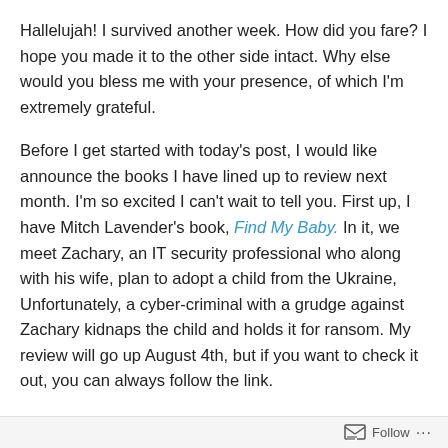Hallelujah! I survived another week. How did you fare? I hope you made it to the other side intact. Why else would you bless me with your presence, of which I'm extremely grateful.
Before I get started with today's post, I would like announce the books I have lined up to review next month. I'm so excited I can't wait to tell you. First up, I have Mitch Lavender's book, Find My Baby. In it, we meet Zachary, an IT security professional who along with his wife, plan to adopt a child from the Ukraine, Unfortunately, a cyber-criminal with a grudge against Zachary kidnaps the child and holds it for ransom. My review will go up August 4th, but if you want to check it out, you can always follow the link.
Follow ...